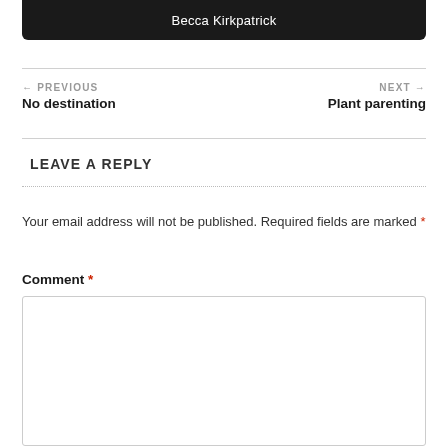Becca Kirkpatrick
← PREVIOUS
No destination
NEXT →
Plant parenting
LEAVE A REPLY
Your email address will not be published. Required fields are marked *
Comment *